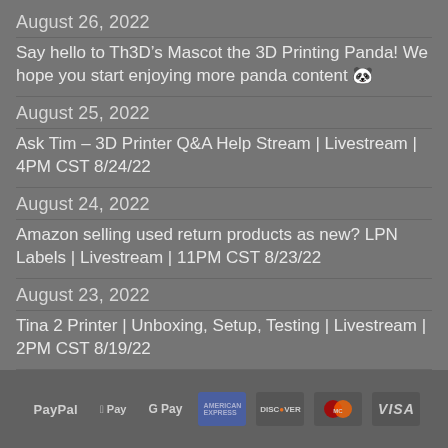August 26, 2022
Say hello to Th3D’s Mascot the 3D Printing Panda! We hope you start enjoying more panda content 🐼
August 25, 2022
Ask Tim – 3D Printer Q&A Help Stream | Livestream | 4PM CST 8/24/22
August 24, 2022
Amazon selling used return products as new? LPN Labels | Livestream | 11PM CST 8/23/22
August 23, 2022
Tina 2 Printer | Unboxing, Setup, Testing | Livestream | 2PM CST 8/19/22
August 15, 2022
PayPal  Apple Pay  G Pay  American Express  Discover  Mastercard  VISA